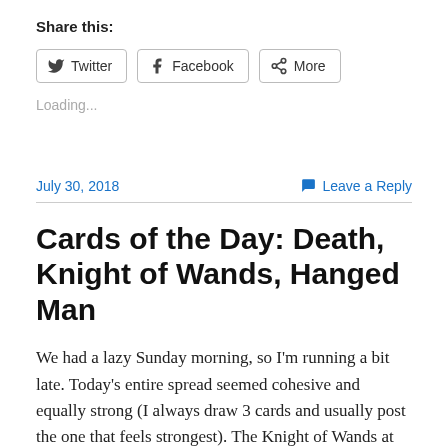Share this:
Twitter
Facebook
More
Loading...
July 30, 2018
Leave a Reply
Cards of the Day: Death, Knight of Wands, Hanged Man
We had a lazy Sunday morning, so I'm running a bit late. Today's entire spread seemed cohesive and equally strong (I always draw 3 cards and usually post the one that feels strongest). The Knight of Wands at center suggests a